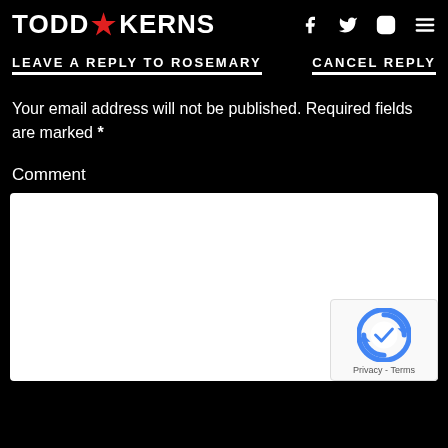TODD★KERNS
LEAVE A REPLY TO ROSEMARY   CANCEL REPLY
Your email address will not be published. Required fields are marked *
Comment
[Figure (other): Comment text input area (white rectangle) and reCAPTCHA badge with Privacy - Terms links]